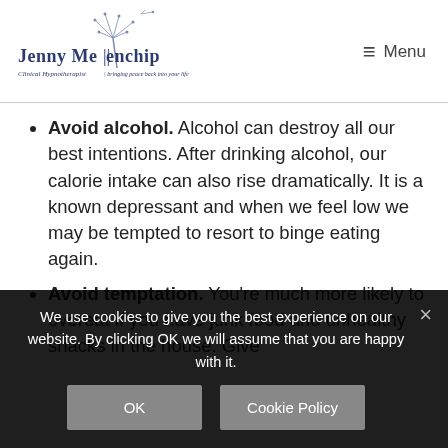[Figure (logo): Jenny Mellenchip Clinical Hypnotherapist logo with decorative dandelion illustration]
≡ Menu
Avoid alcohol. Alcohol can destroy all our best intentions. After drinking alcohol, our calorie intake can also rise dramatically. It is a known depressant and when we feel low we may be tempted to resort to binge eating again.
Avoid temptation. You're much more likely to overeat if you have junk food and unhealthy snacks in the house. Give
We use cookies to give you the best experience on our website. By clicking OK we will assume that you are happy with it.
OK   Cookie Policy